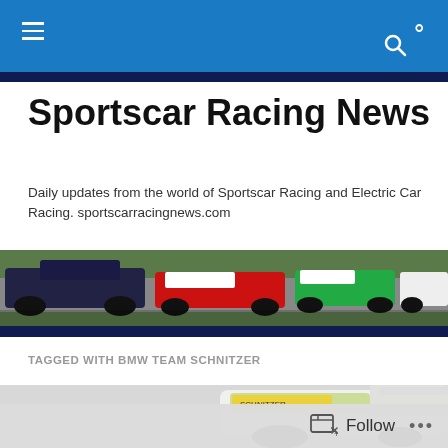Sportscar Racing News – navigation bar
Sportscar Racing News
Daily updates from the world of Sportscar Racing and Electric Car Racing. sportscarracingnews.com
[Figure (photo): Panoramic banner showing multiple sportscar racing cars on track including a dark prototype, a red/white car, a green/white car, and a white car]
TAGGED WITH BMW TEAM SCHNITZER
[Figure (photo): Partial view of a white/green BMW racing car from BMW Team Schnitzer]
Follow